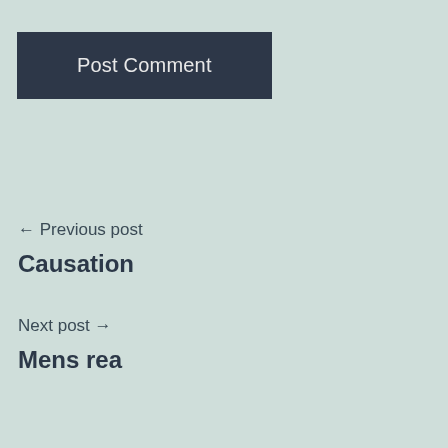Post Comment
← Previous post
Causation
Next post →
Mens rea